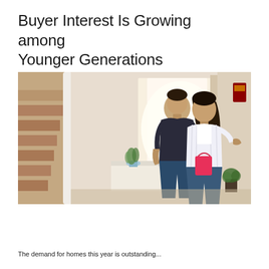Buyer Interest Is Growing among Younger Generations
[Figure (photo): A young couple standing in the entryway of a home, looking up and around with interest. The woman carries a pink handbag and wears a white striped blouse with jeans. The man wears a dark t-shirt and jeans. Interior of home visible with stairs on the left, a door in the background, and a small plant on a white cabinet.]
The demand for homes this year is outstanding...